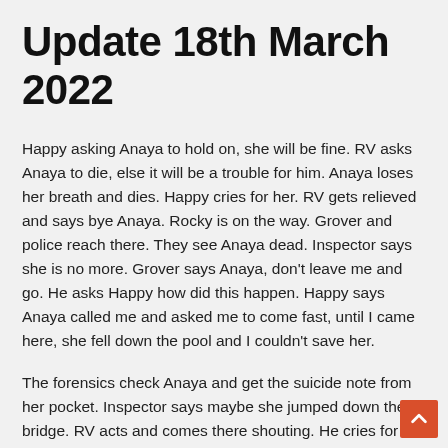Update 18th March 2022
Happy asking Anaya to hold on, she will be fine. RV asks Anaya to die, else it will be a trouble for him. Anaya loses her breath and dies. Happy cries for her. RV gets relieved and says bye Anaya. Rocky is on the way. Grover and police reach there. They see Anaya dead. Inspector says she is no more. Grover says Anaya, don't leave me and go. He asks Happy how did this happen. Happy says Anaya called me and asked me to come fast, until I came here, she fell down the pool and I couldn't save her.
The forensics check Anaya and get the suicide note from her pocket. Inspector says maybe she jumped down the bridge. RV acts and comes there shouting. He cries for Anaya and asks how will I live without her. Grover asks RV to see what she has written. He reads… my hope and wish to live has ended, I can't live without RV and his love, RV live with the one you love. RV says its all my